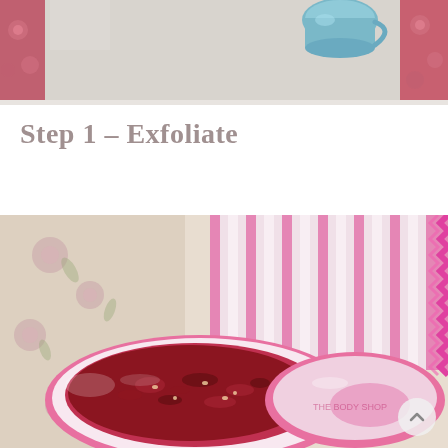[Figure (photo): Top portion of a photo showing a blue mug and pink floral fabric/bedding on a light grey surface]
Step 1 – Exfoliate
[Figure (photo): Close-up photo of a pink and white striped cloth/bag and a round container with a dark reddish-brown strawberry exfoliating scrub, likely a Body Shop product, placed on floral fabric background. A circular scroll-up button is visible in the bottom right.]